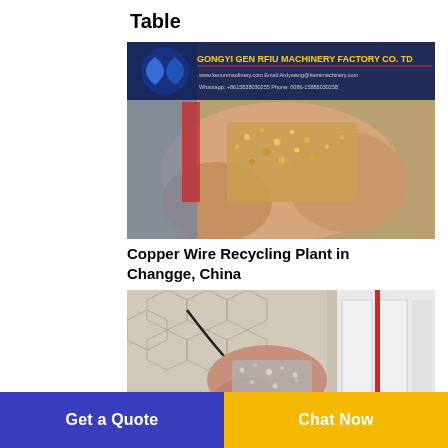Table
[Figure (photo): Hand holding copper wire granules/nuggets with a company banner overlay showing GONGYI GENYRFIU MACHINERY FACTORY CO., LTD with website, email, WhatsApp and phone contact details]
Copper Wire Recycling Plant in Changge, China
[Figure (photo): Hands working with small metal wire pieces/granules near white and red machinery components on a patterned surface]
Get a Quote
Chat Now